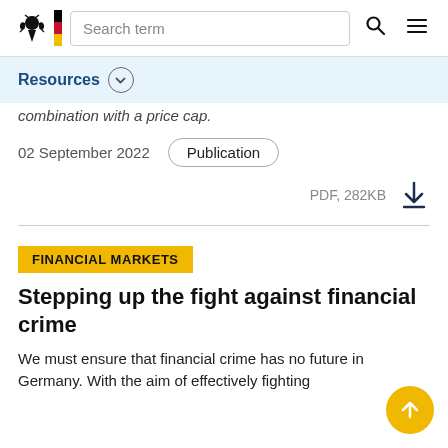Search term [search icon] [menu icon]
Resources
combination with a price cap.
02 September 2022   Publication
PDF, 282KB
FINANCIAL MARKETS
Stepping up the fight against financial crime
We must ensure that financial crime has no future in Germany. With the aim of effectively fighting